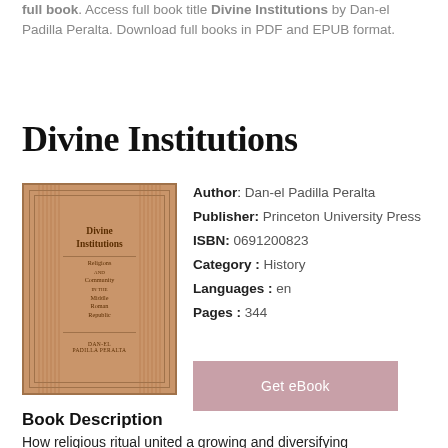full book. Access full book title Divine Institutions by Dan-el Padilla Peralta. Download full books in PDF and EPUB format.
Divine Institutions
[Figure (illustration): Book cover of Divine Institutions by Dan-el Padilla Peralta, Princeton University Press. Brown/terracotta colored cover with architectural decorative border motif, title text and subtitle 'Religions and Community in the Middle Roman Republic'.]
Author: Dan-el Padilla Peralta
Publisher: Princeton University Press
ISBN: 0691200823
Category: History
Languages: en
Pages: 344
Get eBook
Book Description
How religious ritual united a growing and diversifying